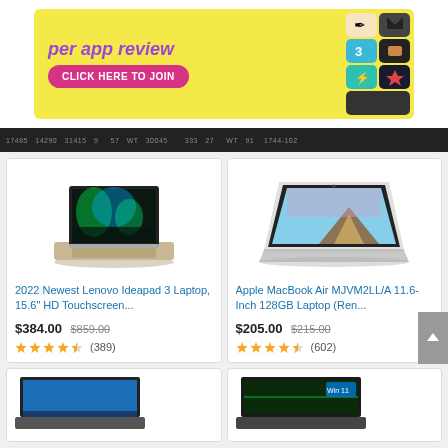[Figure (infographic): Yellow ad banner with purple italic text 'per app review' and a pink 'CLICK HERE TO JOIN' button, plus colorful app icons on the right.]
per app review
CLICK HERE TO JOIN
[Figure (photo): Lenovo Ideapad 3 laptop with northern lights on screen]
2022 Newest Lenovo Ideapad 3 Laptop, 15.6" HD Touchscreen...
$384.00 $859.00
(389)
[Figure (photo): Apple MacBook Air MJVM2LL/A 11.6-Inch 128GB laptop (Renewed), open with mountain wallpaper on screen]
Apple MacBook Air MJVM2LL/A 11.6-Inch 128GB Laptop (Ren...
$205.00 $215.00
(602)
[Figure (photo): Laptop partial view bottom left, Windows interface visible]
[Figure (photo): Acer laptop partial view bottom right with Windows 11 badge]